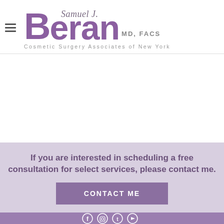[Figure (logo): Samuel J. Beran MD, FACS – Cosmetic Surgery Associates of New York logo in purple/grey]
If you are interested in scheduling a free consultation for select services, please contact me.
CONTACT ME
[Figure (other): Footer with social media icons (Facebook, Instagram, Twitter, YouTube) on purple background]